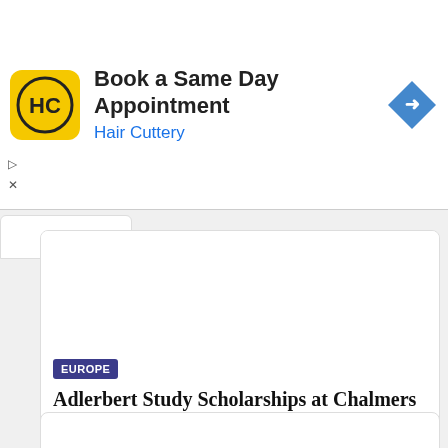[Figure (screenshot): Hair Cuttery advertisement banner with logo and navigation icon]
Book a Same Day Appointment
Hair Cuttery
EUROPE
Adlerbert Study Scholarships at Chalmers University of Technology, Sweden
Adlerbert Study Scholarships: Applications are invited from...
Read More ⇒